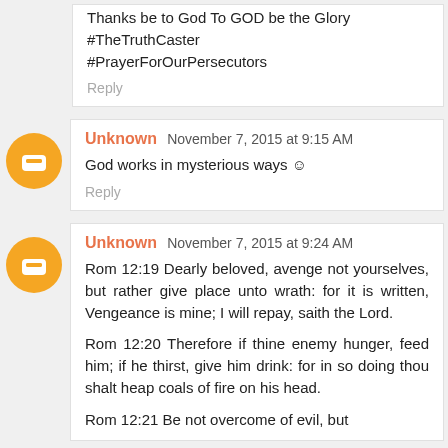Thanks be to God To GOD be the Glory #TheTruthCaster #PrayerForOurPersecutors
Reply
Unknown November 7, 2015 at 9:15 AM
God works in mysterious ways :)
Reply
Unknown November 7, 2015 at 9:24 AM
Rom 12:19 Dearly beloved, avenge not yourselves, but rather give place unto wrath: for it is written, Vengeance is mine; I will repay, saith the Lord.
Rom 12:20 Therefore if thine enemy hunger, feed him; if he thirst, give him drink: for in so doing thou shalt heap coals of fire on his head.
Rom 12:21 Be not overcome of evil, but